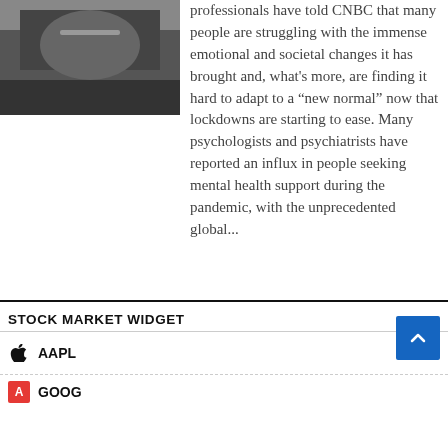[Figure (photo): Partial black and white photo (cropped, top-left), appears to show a person or subject in dark tones]
professionals have told CNBC that many people are struggling with the immense emotional and societal changes it has brought and, what's more, are finding it hard to adapt to a “new normal” now that lockdowns are starting to ease. Many psychologists and psychiatrists have reported an influx in people seeking mental health support during the pandemic, with the unprecedented global...
STOCK MARKET WIDGET
AAPL
GOOG